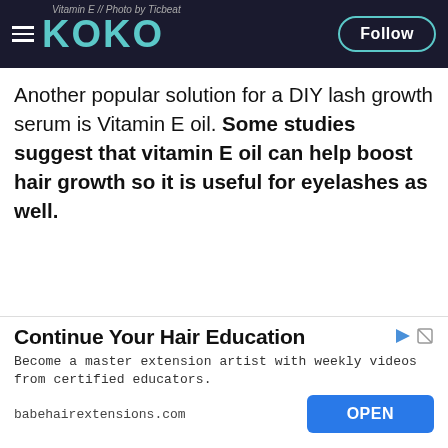Vitamin E // Photo by Ticbeat — KOKO — Follow
Another popular solution for a DIY lash growth serum is Vitamin E oil. Some studies suggest that vitamin E oil can help boost hair growth so it is useful for eyelashes as well.
3. Coconut oil
[Figure (photo): Photo of coconuts — whole and halved coconuts on a light surface with a small glass bottle of coconut oil, dark blue-grey background]
[Figure (screenshot): Advertisement banner: Continue Your Hair Education — Become a master extension artist with weekly videos from certified educators. babehairextensions.com — OPEN button]